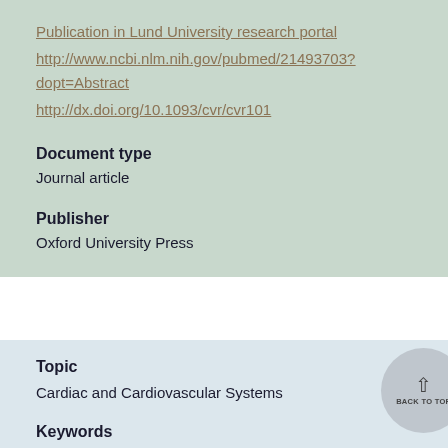Publication in Lund University research portal
http://www.ncbi.nlm.nih.gov/pubmed/21493703?dopt=Abstract
http://dx.doi.org/10.1093/cvr/cvr101
Document type
Journal article
Publisher
Oxford University Press
Topic
Cardiac and Cardiovascular Systems
Keywords
Immunization